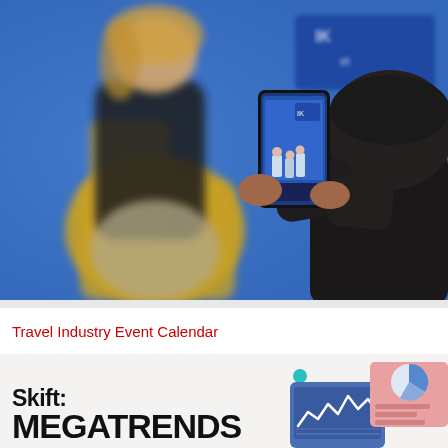[Figure (photo): A person in the foreground photographing a stage event with a smartphone. In the background, a woman sits in a yellow chair against a blue backdrop with a conference sign.]
Travel Industry Event Calendar
[Figure (illustration): Skift Megatrends branding illustration with tablet, line chart, and pie chart graphics on a light pink/beige background.]